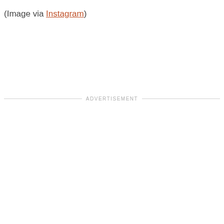(Image via Instagram)
ADVERTISEMENT